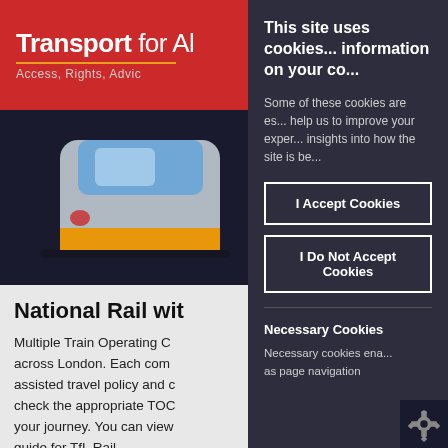Transport for All — Access, Rights, Advice
[Figure (illustration): Hero image showing a train/bus illustration with grey and yellow vehicle against a dark background]
National Rail with...
Multiple Train Operating Companies operate across London. Each company has its own assisted travel policy and customers should check the appropriate TOC's website before your journey. You can view our step-free guide for TfL Rail here: http://content.tfl.go...
This site uses cookies... information on your co...
Some of these cookies are essential... help us to improve your experience... insights into how the site is be...
I Accept Cookies
I Do Not Accept Cookies
Necessary Cookies
Necessary cookies enable... as page navigation